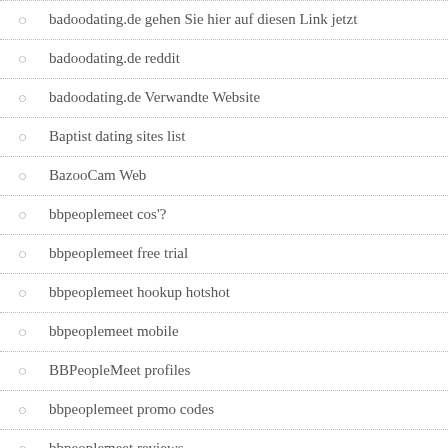badoodating.de gehen Sie hier auf diesen Link jetzt
badoodating.de reddit
badoodating.de Verwandte Website
Baptist dating sites list
BazooCam Web
bbpeoplemeet cos'?
bbpeoplemeet free trial
bbpeoplemeet hookup hotshot
bbpeoplemeet mobile
BBPeopleMeet profiles
bbpeoplemeet promo codes
bbpeoplemeet reviews